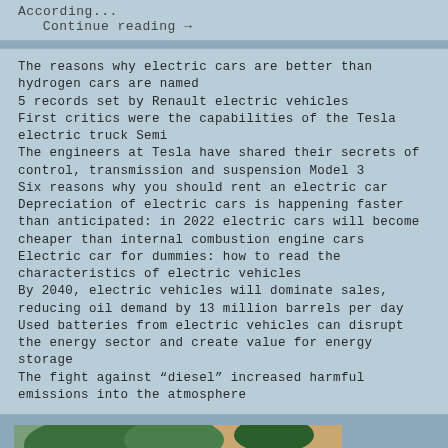According...
  Continue reading →
The reasons why electric cars are better than hydrogen cars are named
5 records set by Renault electric vehicles
First critics were the capabilities of the Tesla electric truck Semi
The engineers at Tesla have shared their secrets of control, transmission and suspension Model 3
Six reasons why you should rent an electric car
Depreciation of electric cars is happening faster than anticipated: in 2022 electric cars will become cheaper than internal combustion engine cars
Electric car for dummies: how to read the characteristics of electric vehicles
By 2040, electric vehicles will dominate sales, reducing oil demand by 13 million barrels per day
Used batteries from electric vehicles can disrupt the energy sector and create value for energy storage
The fight against “diesel” increased harmful emissions into the atmosphere
[Figure (photo): Photo of a small white/red electric car viewed from the rear, parked in an outdoor area with trees and a building in the background]